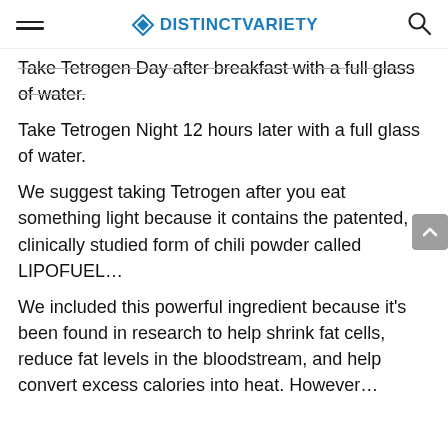DISTINCTVARIETY
Take Tetrogen Day after breakfast with a full glass of water.
Take Tetrogen Night 12 hours later with a full glass of water.
We suggest taking Tetrogen after you eat something light because it contains the patented, clinically studied form of chili powder called LIPOFUEL…
We included this powerful ingredient because it's been found in research to help shrink fat cells, reduce fat levels in the bloodstream, and help convert excess calories into heat. However…